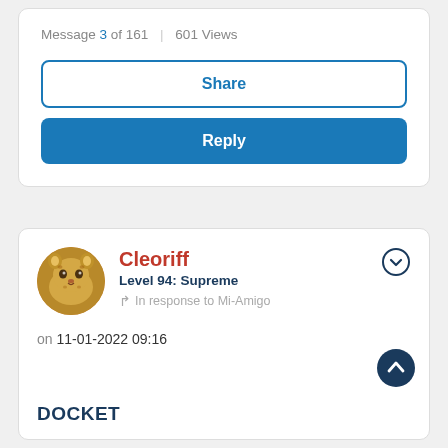Message 3 of 161 | 601 Views
Share
Reply
Cleoriff
Level 94: Supreme
In response to Mi-Amigo
on 11-01-2022 09:16
DOCKET